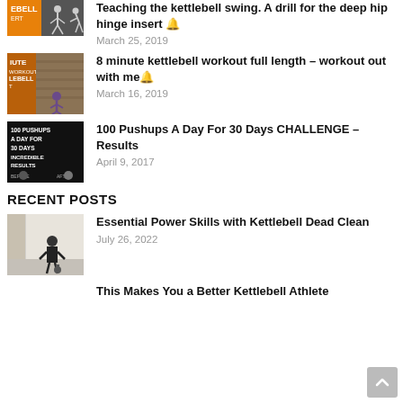[Figure (photo): Thumbnail for kettlebell swing video, partially visible at top]
Teaching the kettlebell swing. A drill for the deep hip hinge insert 🔔
March 25, 2019
[Figure (photo): Thumbnail for 8 minute kettlebell workout video showing outdoor scene]
8 minute kettlebell workout full length – workout out with me🔔
March 16, 2019
[Figure (photo): Thumbnail showing 100 Pushups A Day For 30 Days text with before and after]
100 Pushups A Day For 30 Days CHALLENGE – Results
April 9, 2017
RECENT POSTS
[Figure (photo): Thumbnail showing person with kettlebell in room]
Essential Power Skills with Kettlebell Dead Clean
July 26, 2022
This Makes You a Better Kettlebell Athlete